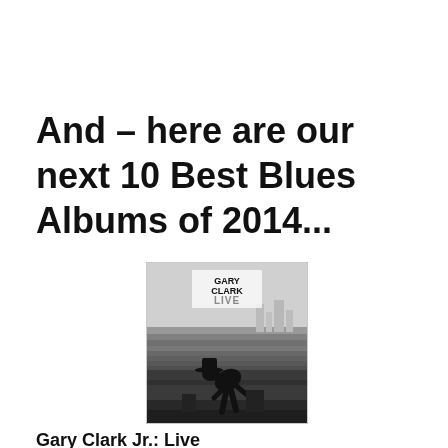And – here are our next 10 Best Blues Albums of 2014...
[Figure (photo): Black and white album cover for Gary Clark Jr.: Live, showing a performer bowing on stage in front of a large outdoor crowd. Text 'GARY CLARK LIVE' in the upper portion of the image.]
Gary Clark Jr.: Live